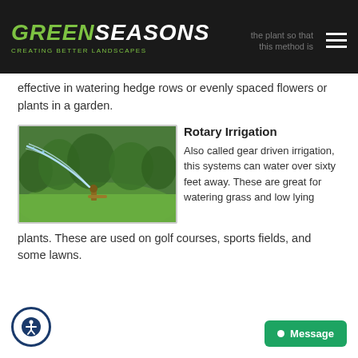GREEN SEASONS — CREATING BETTER LANDSCAPES
effective in watering hedge rows or evenly spaced flowers or plants in a garden.
[Figure (photo): Rotary sprinkler head spraying water over a green lawn with trees in background]
Rotary Irrigation
Also called gear driven irrigation, this systems can water over sixty feet away. These are great for watering grass and low lying plants. These are used on golf courses, sports fields, and some lawns.